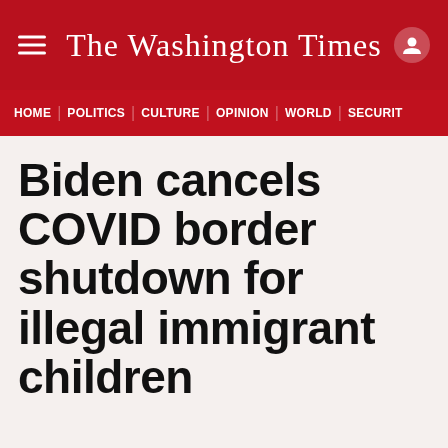The Washington Times
HOME | POLITICS | CULTURE | OPINION | WORLD | SECURITY
Biden cancels COVID border shutdown for illegal immigrant children